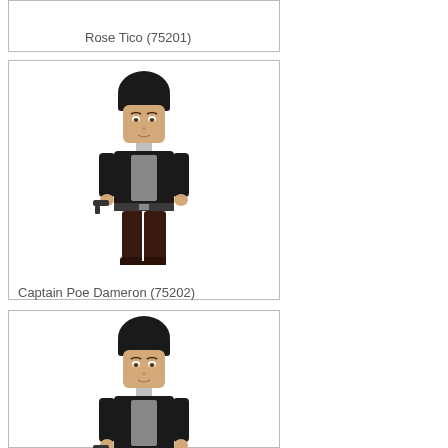Rose Tico (75201)
[Figure (photo): LEGO minifigure of Captain Poe Dameron from set 75202, wearing black outfit, holding blaster pistol]
Captain Poe Dameron (75202)
[Figure (photo): Another LEGO minifigure resembling Captain Poe Dameron, black outfit, holding blaster pistol, partial view]